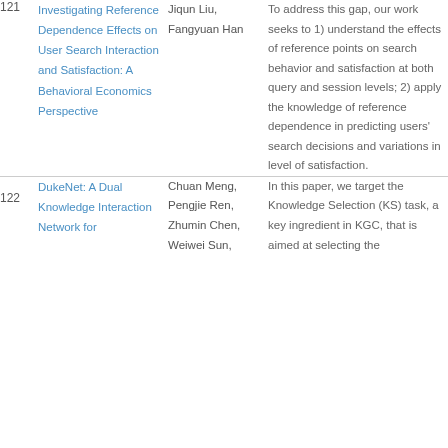| # | Title | Authors | Abstract |
| --- | --- | --- | --- |
| 121 | Investigating Reference Dependence Effects on User Search Interaction and Satisfaction: A Behavioral Economics Perspective | Jiqun Liu, Fangyuan Han | To address this gap, our work seeks to 1) understand the effects of reference points on search behavior and satisfaction at both query and session levels; 2) apply the knowledge of reference dependence in predicting users' search decisions and variations in level of satisfaction. |
| 122 | DukeNet: A Dual Knowledge Interaction Network for | Chuan Meng, Pengjie Ren, Zhumin Chen, Weiwei Sun, | In this paper, we target the Knowledge Selection (KS) task, a key ingredient in KGC, that is aimed at selecting the |